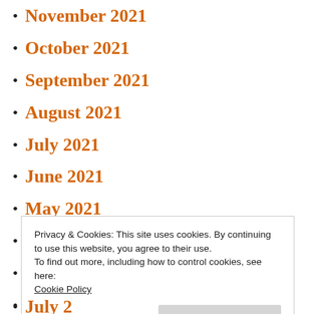November 2021
October 2021
September 2021
August 2021
July 2021
June 2021
May 2021
April 2021
March 2021
February 2021
January 2021
Privacy & Cookies: This site uses cookies. By continuing to use this website, you agree to their use.
To find out more, including how to control cookies, see here:
Cookie Policy
Close and accept
July 2020